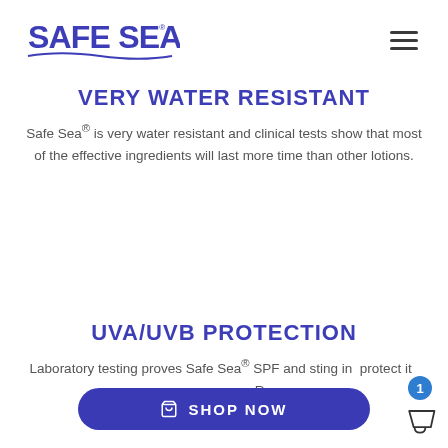[Figure (logo): Safe Sea logo in blue/purple with wave underline and registered trademark symbol]
VERY WATER RESISTANT
Safe Sea® is very water resistant and clinical tests show that most of the effective ingredients will last more time than other lotions.
UVA/UVB PROTECTION
Laboratory testing proves Safe Sea® SPF and sting inhibitor protect it [cut off] un-Rays.